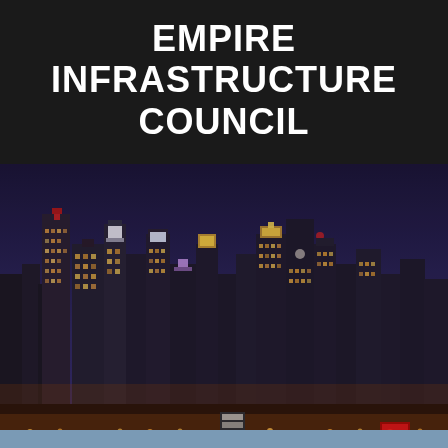EMPIRE INFRASTRUCTURE COUNCIL
[Figure (photo): Night cityscape of a major metropolitan skyline (likely New York City) with illuminated skyscrapers, city lights in amber and gold, and a dark purple-blue night sky. Buildings of various heights are visible with lit windows and signage.]